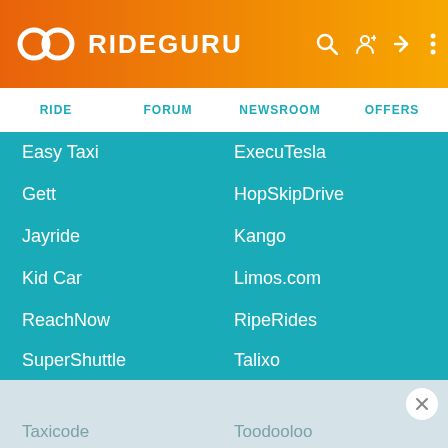RIDEGURU
RIDE
FORUM
NEWSROOM
OFFERS
Easy Taxi
ExecuTesla
Gett
HopSkipDrive
Jayride
Kango
Kid Car
Limos.com
ReachNow
RipeRides
SuperShuttle
Talixo
Taxicode
Toodooloo